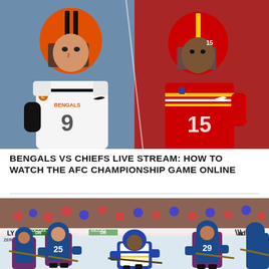[Figure (photo): Split image showing two NFL quarterbacks: left side shows Cincinnati Bengals quarterback in white uniform with orange helmet, right side shows Kansas City Chiefs quarterback #15 in red uniform with red helmet]
BENGALS VS CHIEFS LIVE STREAM: HOW TO WATCH THE AFC CHAMPIONSHIP GAME ONLINE
[Figure (photo): Ice hockey action photo showing Colorado Avalanche players in blue/burgundy jerseys (#25 and #29) competing against St. Louis Blues player #4 in white/blue jersey on the ice, with crowd and arena advertisements visible in background]